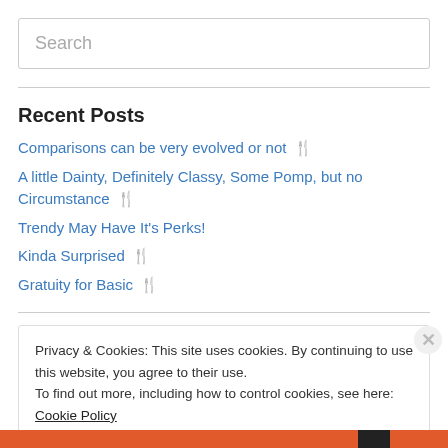Search
Recent Posts
Comparisons can be very evolved or not 🍴
A little Dainty, Definitely Classy, Some Pomp, but no Circumstance 🍴
Trendy May Have It's Perks!
Kinda Surprised 🍴
Gratuity for Basic 🍴
Privacy & Cookies: This site uses cookies. By continuing to use this website, you agree to their use. To find out more, including how to control cookies, see here: Cookie Policy